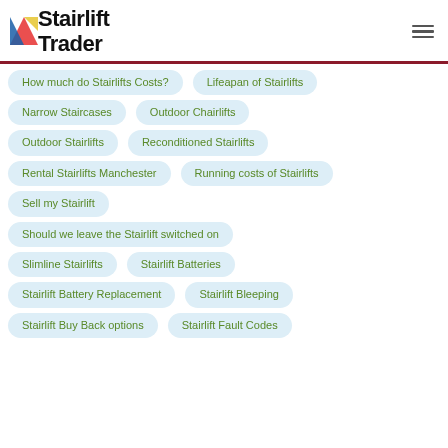Stairlift Trader
How much do Stairlifts Costs?
Lifeapan of Stairlifts
Narrow Staircases
Outdoor Chairlifts
Outdoor Stairlifts
Reconditioned Stairlifts
Rental Stairlifts Manchester
Running costs of Stairlifts
Sell my Stairlift
Should we leave the Stairlift switched on
Slimline Stairlifts
Stairlift Batteries
Stairlift Battery Replacement
Stairlift Bleeping
Stairlift Buy Back options
Stairlift Fault Codes